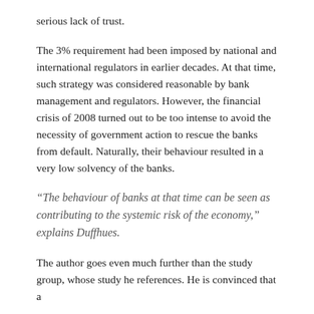serious lack of trust.
The 3% requirement had been imposed by national and international regulators in earlier decades. At that time, such strategy was considered reasonable by bank management and regulators. However, the financial crisis of 2008 turned out to be too intense to avoid the necessity of government action to rescue the banks from default. Naturally, their behaviour resulted in a very low solvency of the banks.
“The behaviour of banks at that time can be seen as contributing to the systemic risk of the economy,” explains Duffhues.
The author goes even much further than the study group, whose study he references. He is convinced that a